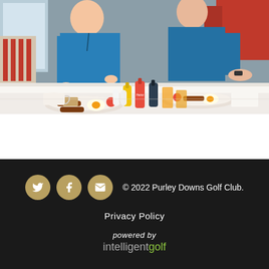[Figure (photo): Two men in blue polo shirts sitting at a white-tablecloth restaurant table eating a full English breakfast. The table has condiments including ketchup and HP sauce bottles, orange juice glasses, coffee cups, and plates with sausages, eggs, bacon, tomatoes, and toast. Red chairs visible in background.]
© 2022 Purley Downs Golf Club.
Privacy Policy
powered by intelligentgolf